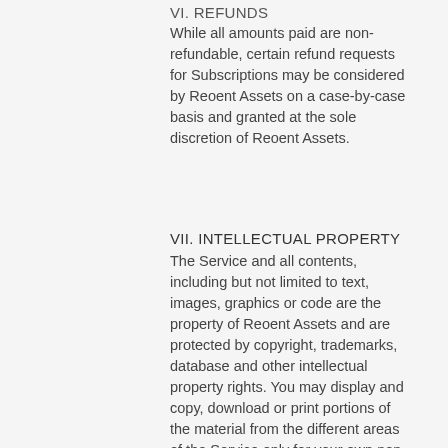VI. REFUNDS
While all amounts paid are non-refundable, certain refund requests for Subscriptions may be considered by Reoent Assets on a case-by-case basis and granted at the sole discretion of Reoent Assets.
VII. INTELLECTUAL PROPERTY
The Service and all contents, including but not limited to text, images, graphics or code are the property of Reoent Assets and are protected by copyright, trademarks, database and other intellectual property rights. You may display and copy, download or print portions of the material from the different areas of the Service only for your own non-commercial use. Any other use is strictly prohibited and may violate copyright, trademark and other laws. These Terms do not grant you a license to use any trademark of Reoent Assets or its affiliates. You further agree not to use, change or delete any proprietary notices from materials downloaded from the Service.